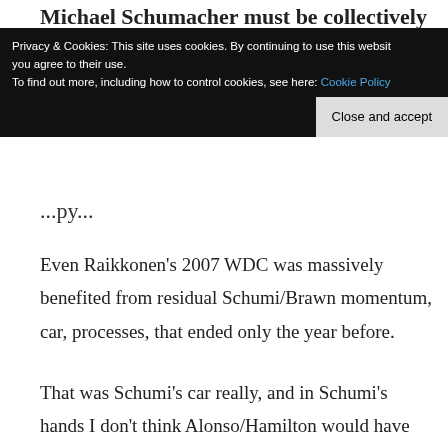Michael Schumacher must be collectively
Privacy & Cookies: This site uses cookies. By continuing to use this website you agree to their use.
To find out more, including how to control cookies, see here: Cookie Policy
Close and accept
...py...
Even Raikkonen's 2007 WDC was massively benefited from residual Schumi/Brawn momentum, car, processes, that ended only the year before.
That was Schumi's car really, and in Schumi's hands I don't think Alonso/Hamilton would have been only 1pt behind at the end. A united